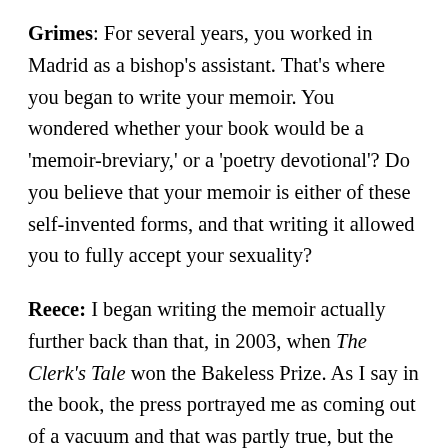Grimes: For several years, you worked in Madrid as a bishop's assistant. That's where you began to write your memoir. You wondered whether your book would be a 'memoir-breviary,' or a 'poetry devotional'? Do you believe that your memoir is either of these self-invented forms, and that writing it allowed you to fully accept your sexuality?
Reece: I began writing the memoir actually further back than that, in 2003, when The Clerk's Tale won the Bakeless Prize. As I say in the book, the press portrayed me as coming out of a vacuum and that was partly true, but the part I wanted documented was that many, living and